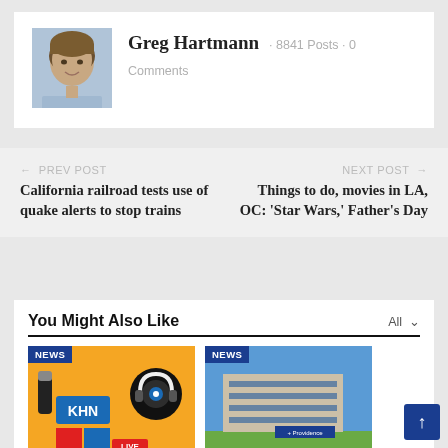[Figure (photo): Headshot photo of Greg Hartmann, a young man with brown hair, smiling, wearing a light blue shirt]
Greg Hartmann · 8841 Posts · 0
Comments
← PREV POST
California railroad tests use of quake alerts to stop trains
NEXT POST →
Things to do, movies in LA, OC: 'Star Wars,' Father's Day
You Might Also Like
All ∨
[Figure (photo): KHN (Kaiser Health News) podcast/live show graphic with orange background, microphones, headphones, and colorful icons]
[Figure (photo): Photo of a Providence hospital building exterior with blue sky and green lawn]